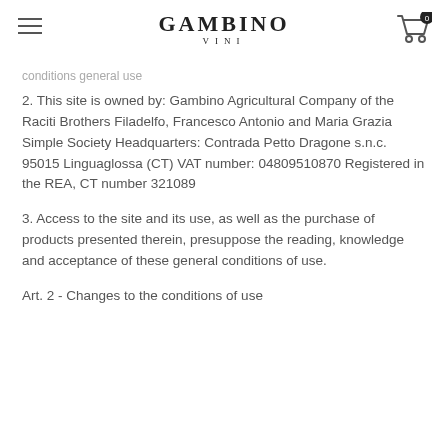conditions general use | GAMBINO VINI | Cart 0
conditions general use
2. This site is owned by: Gambino Agricultural Company of the Raciti Brothers Filadelfo, Francesco Antonio and Maria Grazia Simple Society Headquarters: Contrada Petto Dragone s.n.c. 95015 Linguaglossa (CT) VAT number: 04809510870 Registered in the REA, CT number 321089
3. Access to the site and its use, as well as the purchase of products presented therein, presuppose the reading, knowledge and acceptance of these general conditions of use.
Art. 2 - Changes to the conditions of use